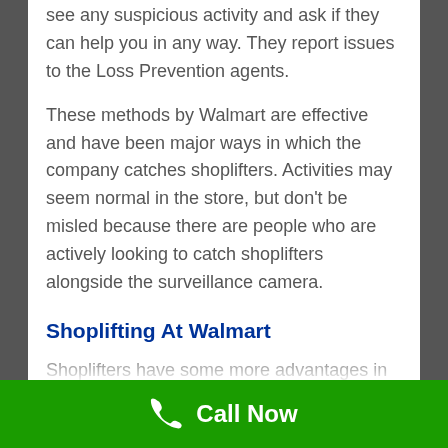see any suspicious activity and ask if they can help you in any way. They report issues to the Loss Prevention agents.
These methods by Walmart are effective and have been major ways in which the company catches shoplifters. Activities may seem normal in the store, but don't be misled because there are people who are actively looking to catch shoplifters alongside the surveillance camera.
Shoplifting At Walmart
Shoplifters have some more advantages in a shoplifting case because real evidence has to be put up against them. Some reasons why shoplifters h